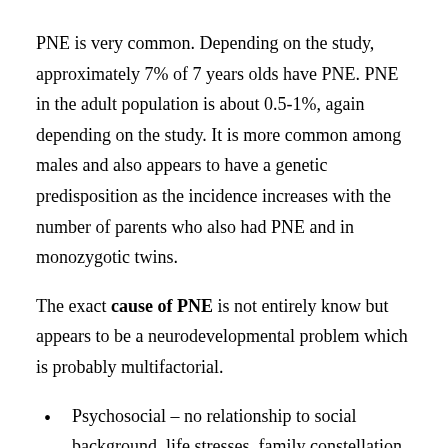PNE is very common. Depending on the study, approximately 7% of 7 years olds have PNE. PNE in the adult population is about 0.5-1%, again depending on the study. It is more common among males and also appears to have a genetic predisposition as the incidence increases with the number of parents who also had PNE and in monozygotic twins.
The exact cause of PNE is not entirely know but appears to be a neurodevelopmental problem which is probably multifactorial.
Psychosocial – no relationship to social background, life stresses, family constellation, or number of residencies has been shown. Enuresis